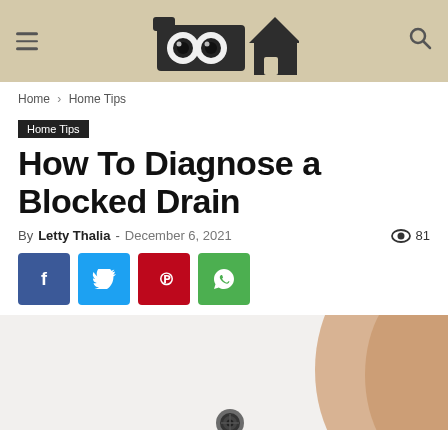[Figure (logo): Website logo with two eyes and a house icon on a beige background, with hamburger menu and search icons]
Home › Home Tips
Home Tips
How To Diagnose a Blocked Drain
By Letty Thalia - December 6, 2021   👁 81
[Figure (infographic): Social share buttons: Facebook (blue f), Twitter (blue bird), Pinterest (red P), WhatsApp (green phone)]
[Figure (photo): Partial photo of a bathtub drain with a person's arm visible in the background]